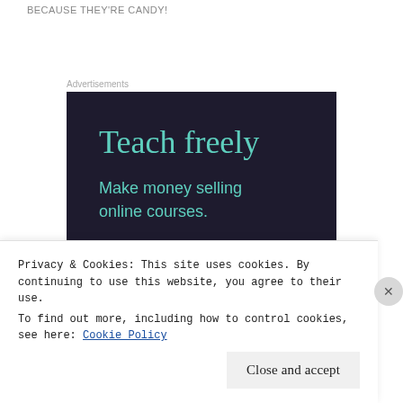BECAUSE THEY'RE CANDY!
Advertisements
[Figure (illustration): Advertisement banner with dark navy background showing 'Teach freely' in teal serif font and 'Make money selling online courses.' in smaller teal sans-serif font below.]
Privacy & Cookies: This site uses cookies. By continuing to use this website, you agree to their use.
To find out more, including how to control cookies, see here: Cookie Policy
Close and accept